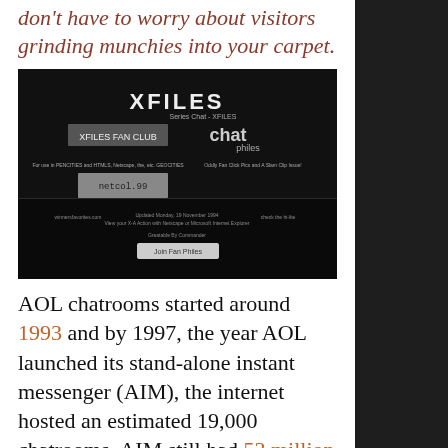don't have to worry about visitors grinding munchies into your carpet.
[Figure (screenshot): Screenshot of an X-Files fan website with dark background, showing XFILES title, fan club section, chat section labeled 'philes', and various navigation links at the bottom.]
AOL chatrooms started around 1993 and by 1997, the year AOL launched its stand-alone instant messenger (AIM), the internet hosted an estimated 19,000 chatrooms. AIM still had 53 million active users worldwide